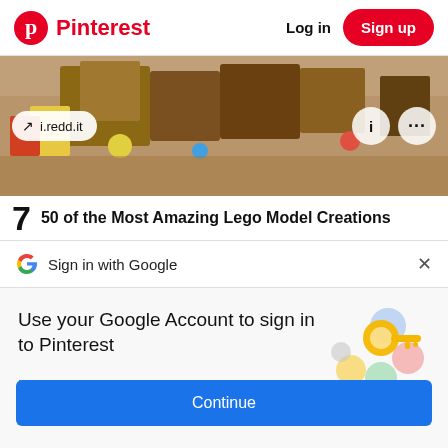Pinterest | Log in | Sign up
[Figure (photo): Cropped image of a detailed LEGO diorama scene with colorful miniature buildings and figurines, viewed from above at an angle.]
↗ i.redd.it
i   ...
7   50 of the Most Amazing Lego Model Creations
Sign in with Google
Use your Google Account to sign in to Pinterest
No more passwords to remember. Signing in is fast, simple and secure.
[Figure (illustration): Google key illustration with colorful circles representing Google sign-in security.]
Continue